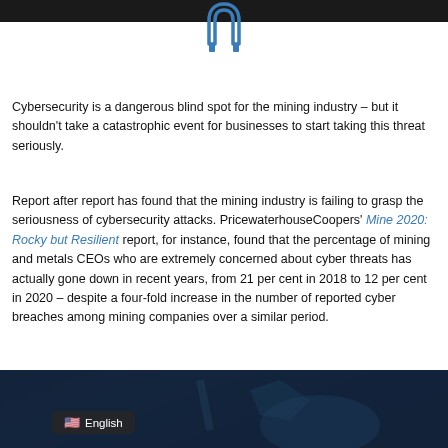[Figure (logo): Blue U-shaped paperclip/horseshoe logo icon centered at top]
Cybersecurity is a dangerous blind spot for the mining industry – but it shouldn't take a catastrophic event for businesses to start taking this threat seriously.
Report after report has found that the mining industry is failing to grasp the seriousness of cybersecurity attacks. PricewaterhouseCoopers' Mine 2020: Rocky but Resilient report, for instance, found that the percentage of mining and metals CEOs who are extremely concerned about cyber threats has actually gone down in recent years, from 21 per cent in 2018 to 12 per cent in 2020 – despite a four-fold increase in the number of reported cyber breaches among mining companies over a similar period.
[Figure (photo): Dark blue-tinted photo of a mining operation with heavy machinery/excavator, with an English language badge overlay in the lower left]